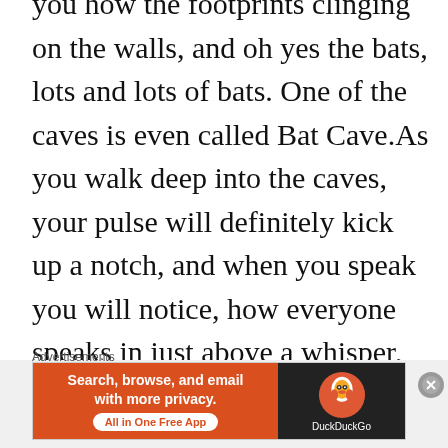you how the footprints clinging on the walls, and oh yes the bats, lots and lots of bats. One of the caves is even called Bat Cave.As you walk deep into the caves, your pulse will definitely kick up a notch, and when you speak you will notice, how everyone speaks in just above a whisper, as if by some unspoken agreement, no one wants to disturb the serenity of the Sleeping Pool or wake the sleepers. The pool is called the Sleeping Pool or Chirorodziva which
Advertisements
[Figure (other): DuckDuckGo advertisement banner: orange section with text 'Search, browse, and email with more privacy.' and 'All in One Free App' button; dark section with DuckDuckGo logo and brand name.]